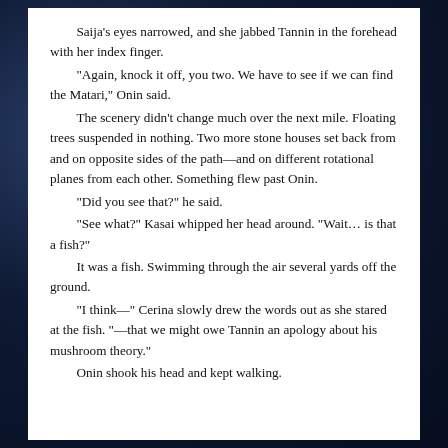Saija's eyes narrowed, and she jabbed Tannin in the forehead with her index finger.
“Again, knock it off, you two. We have to see if we can find the Matari,” Onin said.
The scenery didn’t change much over the next mile. Floating trees suspended in nothing. Two more stone houses set back from and on opposite sides of the path—and on different rotational planes from each other. Something flew past Onin.
“Did you see that?” he said.
“See what?” Kasai whipped her head around. “Wait… is that a fish?”
It was a fish. Swimming through the air several yards off the ground.
“I think—” Cerina slowly drew the words out as she stared at the fish. “—that we might owe Tannin an apology about his mushroom theory.”
Onin shook his head and kept walking.